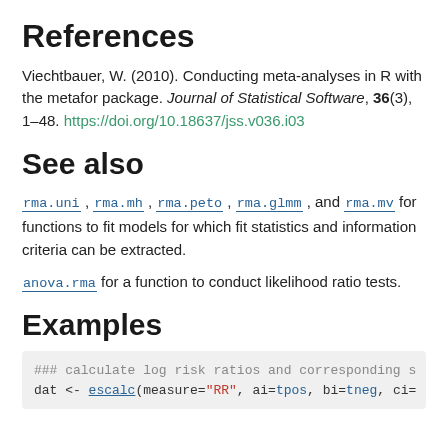References
Viechtbauer, W. (2010). Conducting meta-analyses in R with the metafor package. Journal of Statistical Software, 36(3), 1–48. https://doi.org/10.18637/jss.v036.i03
See also
rma.uni, rma.mh, rma.peto, rma.glmm, and rma.mv for functions to fit models for which fit statistics and information criteria can be extracted.
anova.rma for a function to conduct likelihood ratio tests.
Examples
### calculate log risk ratios and corresponding s
dat <- escalc(measure="RR", ai=tpos, bi=tneg, ci=